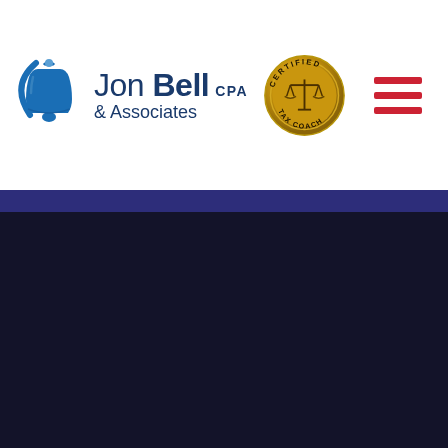[Figure (logo): Jon Bell CPA & Associates logo with blue bell icon and certified tax coach badge, plus red hamburger menu icon]